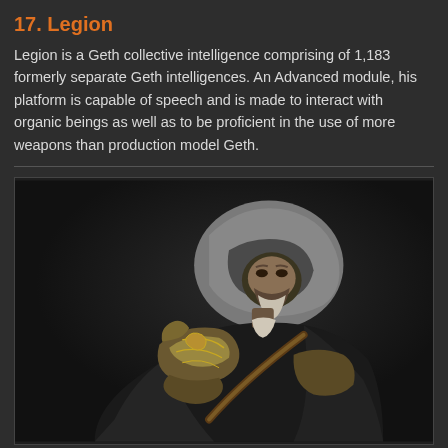17. Legion
Legion is a Geth collective intelligence comprising of 1,183 formerly separate Geth intelligences. An Advanced module, his platform is capable of speech and is made to interact with organic beings as well as to be proficient in the use of more weapons than production model Geth.
[Figure (illustration): A 3D rendered figure of a hooded and armored character, viewed from slightly above, wearing dark robes with ornate metallic shoulder armor. The figure appears to be a fantasy/game character with a grey hood covering its head.]